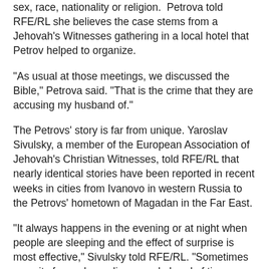sex, race, nationality or religion. Petrova told RFE/RL she believes the case stems from a Jehovah's Witnesses gathering in a local hotel that Petrov helped to organize.
"As usual at those meetings, we discussed the Bible," Petrova said. "That is the crime that they are accusing my husband of."
The Petrovs' story is far from unique. Yaroslav Sivulsky, a member of the European Association of Jehovah's Christian Witnesses, told RFE/RL that nearly identical stories have been reported in recent weeks in cities from Ivanovo in western Russia to the Petrovs' hometown of Magadan in the Far East.
"It always happens in the evening or at night when people are sleeping and the effect of surprise is most effective," Sivulsky told RFE/RL. "Sometimes security forces have discovered ahead of time where small gatherings of friends are being held, literally three to five people. Apparently, their telephones are being monitored or they are being followed."